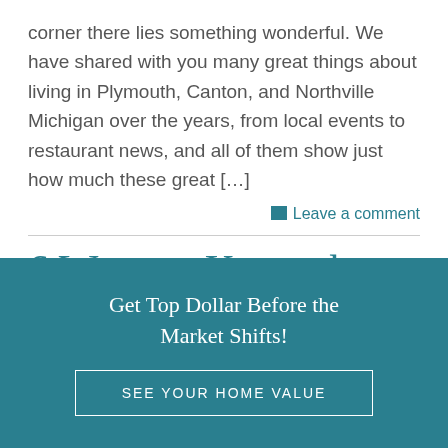corner there lies something wonderful.  We have shared with you many great things about living in Plymouth, Canton, and Northville Michigan over the years, from local events to restaurant news, and all of them show just how much these great […]
Leave a comment
6 Ways to Know the National (and Local) Housing Mark…
Get Top Dollar Before the Market Shifts!
SEE YOUR HOME VALUE